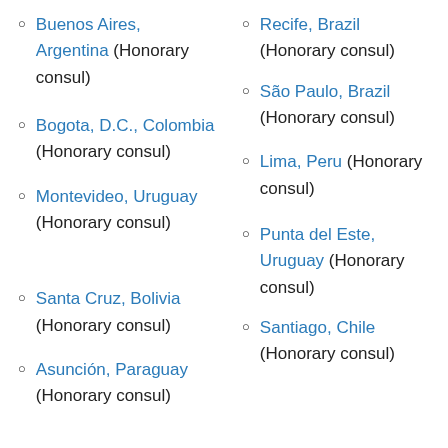Buenos Aires, Argentina (Honorary consul)
Recife, Brazil (Honorary consul)
São Paulo, Brazil (Honorary consul)
Bogota, D.C., Colombia (Honorary consul)
Lima, Peru (Honorary consul)
Montevideo, Uruguay (Honorary consul)
Punta del Este, Uruguay (Honorary consul)
Santa Cruz, Bolivia (Honorary consul)
Santiago, Chile (Honorary consul)
Asunción, Paraguay (Honorary consul)